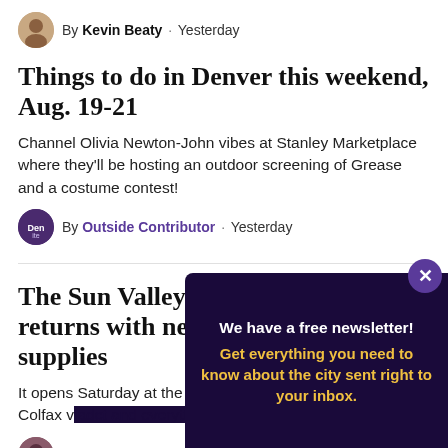By Kevin Beaty · Yesterday
Things to do in Denver this weekend, Aug. 19-21
Channel Olivia Newton-John vibes at Stanley Marketplace where they'll be hosting an outdoor screening of Grease and a costume contest!
By Outside Contributor · Yesterday
The Sun Valley Night Market returns with new vendors and school supplies
It opens Saturday at the underside of the West Colfax v…
By D…
Develo…
[Figure (infographic): Newsletter popup overlay with dark purple background. White bold text: 'We have a free newsletter!' Yellow bold text: 'Get everything you need to know about the city sent right to your inbox.' Purple circle X close button in top right corner.]